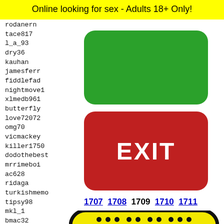Online looking for sex - Adults 18+ Only!
rodanern
tace817
l_a_93
dry36
kauhan
jamesferr
fiddlefad
nightmove1
xlmedb961
butterfly
love72072
omg70
vicmackey
killer1750
dodothebest
mrrimeboi
ac628
ridaga
turkishmemo
tipsy98
mkl_1
bmac32
humrob
itsski
bdjohn
phee42
[Figure (other): Large green rounded rectangle button (no text)]
[Figure (other): Large red rounded rectangle button with white EXIT text]
1707 1708 1709 1710 1711
[Figure (illustration): Snapchat ghost logo on yellow background with black rounded rectangle border, visible at bottom of page]